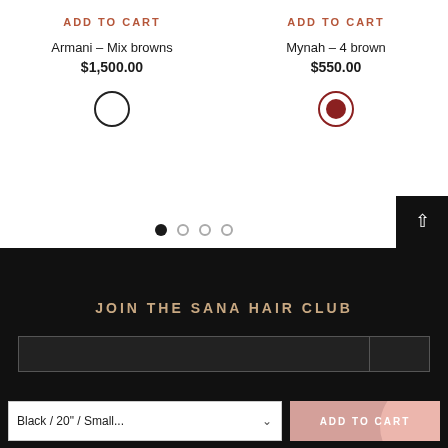ADD TO CART
ADD TO CART
Armani – Mix browns
Mynah – 4 brown
$1,500.00
$550.00
JOIN THE SANA HAIR CLUB
Black / 20" / Small...
ADD TO CART